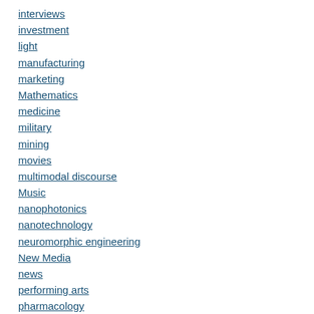interviews
investment
light
manufacturing
marketing
Mathematics
medicine
military
mining
movies
multimodal discourse
Music
nanophotonics
nanotechnology
neuromorphic engineering
New Media
news
performing arts
pharmacology